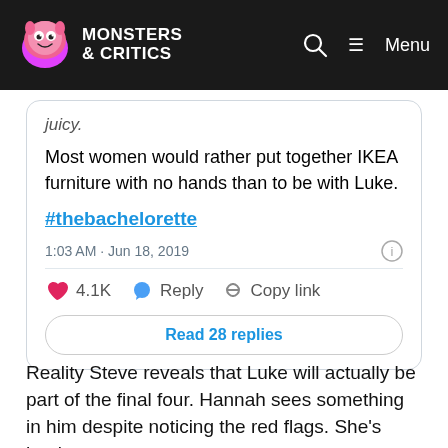MONSTERS & CRITICS | Menu
juicy.
Most women would rather put together IKEA furniture with no hands than to be with Luke.
#thebachelorette
1:03 AM · Jun 18, 2019
4.1K  Reply  Copy link
Read 28 replies
Reality Steve reveals that Luke will actually be part of the final four. Hannah sees something in him despite noticing the red flags. She's hoping